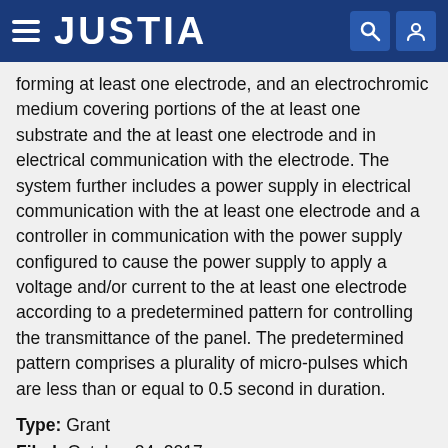JUSTIA
forming at least one electrode, and an electrochromic medium covering portions of the at least one substrate and the at least one electrode and in electrical communication with the electrode. The system further includes a power supply in electrical communication with the at least one electrode and a controller in communication with the power supply configured to cause the power supply to apply a voltage and/or current to the at least one electrode according to a predetermined pattern for controlling the transmittance of the panel. The predetermined pattern comprises a plurality of micro-pulses which are less than or equal to 0.5 second in duration.
Type: Grant
Filed: October 24, 2017
Date of Patent: January 18, 2022
Assignee: PPG Industries Ohio, Inc.